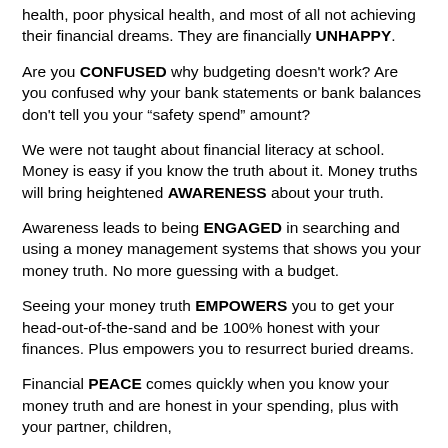health, poor physical health, and most of all not achieving their financial dreams.  They are financially UNHAPPY.
Are you CONFUSED why budgeting doesn't work?  Are you confused why your bank statements or bank balances don't tell you your “safety spend” amount?
We were not taught about financial literacy at school.  Money is easy if you know the truth about it.  Money truths will bring heightened AWARENESS about your truth.
Awareness leads to being ENGAGED in searching and using a money management systems that shows you your money truth.  No more guessing with a budget.
Seeing your money truth EMPOWERS you to get your head-out-of-the-sand and be 100% honest with your finances.  Plus empowers you to resurrect buried dreams.
Financial PEACE comes quickly when you know your money truth and are honest in your spending, plus with your partner, children,